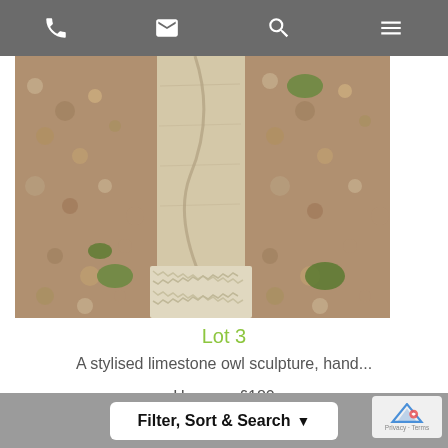Navigation bar with phone, email, search, and menu icons
[Figure (photo): A stylised limestone owl sculpture on a gravel background, showing the lower part of the stone carving]
Lot 3
A stylised limestone owl sculpture, hand...
Hammer £180
Fees
Filter, Sort & Search